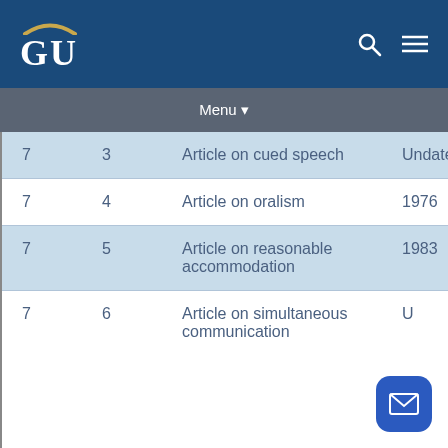GU [Georgetown University header with search and menu icons]
Menu
| Box | Folder | Description | Date |
| --- | --- | --- | --- |
| 7 | 3 | Article on cued speech | Undated |
| 7 | 4 | Article on oralism | 1976 |
| 7 | 5 | Article on reasonable accommodation | 1983 |
| 7 | 6 | Article on simultaneous communication | U[ndated] |